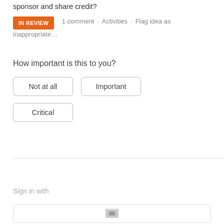sponsor and share credit?
IN REVIEW · 1 comment · Activities · Flag idea as inappropriate…
How important is this to you?
Not at all
Important
Critical
Sign in with